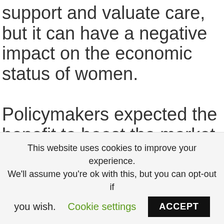support and valuate care, but it can have a negative impact on the economic status of women.

Policymakers expected the benefit to boost the market in social services, increase the autonomy of people who need long-term care, and improve the economic situation of informal caregivers, but this was not the case. The researcher believes the findings...
This website uses cookies to improve your experience. We'll assume you're ok with this, but you can opt-out if you wish. Cookie settings ACCEPT